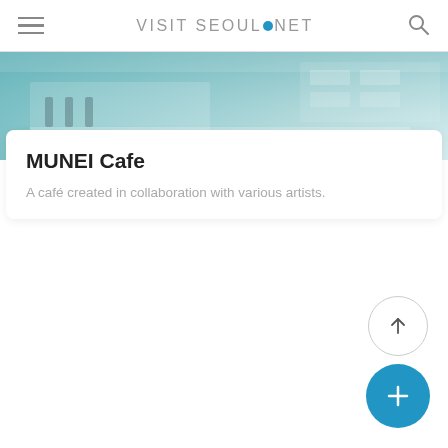VISIT SEOUL.NET
[Figure (photo): Interior of MUNEI Cafe showing a modern minimalist kitchen/bar area with teal-toned ambiance, bar stools, and clean white surfaces]
MUNEI Cafe
A café created in collaboration with various artists.